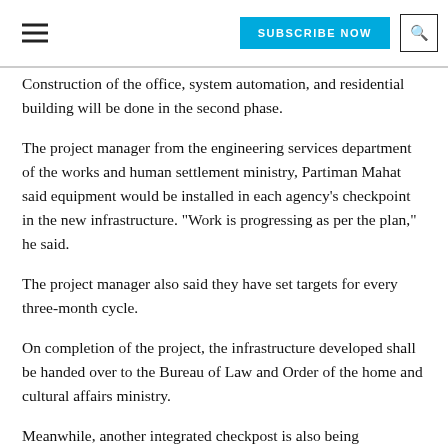SUBSCRIBE NOW | search
Construction of the office, system automation, and residential building will be done in the second phase.
The project manager from the engineering services department of the works and human settlement ministry, Partiman Mahat said equipment would be installed in each agency's checkpoint in the new infrastructure. “Work is progressing as per the plan,” he said.
The project manager also said they have set targets for every three-month cycle.
On completion of the project, the infrastructure developed shall be handed over to the Bureau of Law and Order of the home and cultural affairs ministry.
Meanwhile, another integrated checkpost is also being constructed at Wangkha in Chukha.